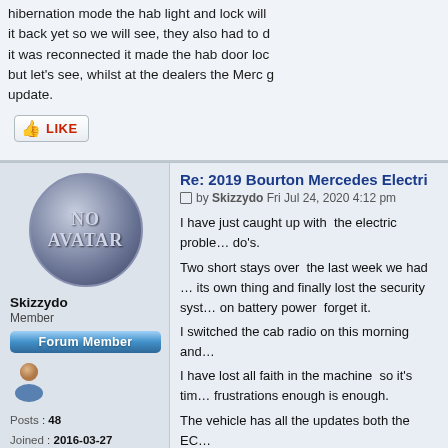hibernation mode the hab light and lock will … it back yet so we will see, they also had to d… it was reconnected it made the hab door loc… but let's see, whilst at the dealers the Merc g… update.
[Figure (other): LIKE button with thumbs up icon]
Re: 2019 Bourton Mercedes Electri…
by Skizzydo Fri Jul 24, 2020 4:12 pm
I have just caught up with  the electric proble… do's.
Two short stays over  the last week we had … its own thing and finally lost the security syst… on battery power  forget it.
I switched the cab radio on this morning and…
I have lost all faith in the machine  so it's tim… frustrations enough is enough.
The vehicle has all the updates both the EC…
Time is up for the Haunted Snail.
Skizzydo
Member
Forum Member
Posts : 48
Joined : 2016-03-27
Member Age : 75
Location : Hants
Auto-Sleeper : Bourton
Vehicle Year : 2019